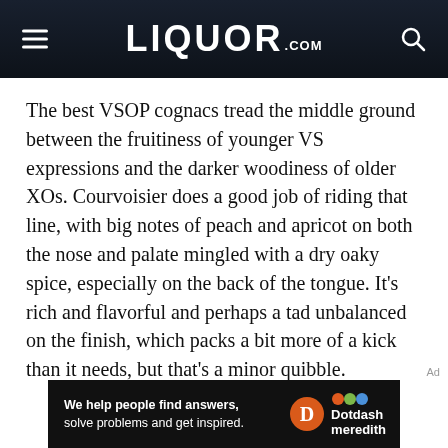LIQUOR.COM
The best VSOP cognacs tread the middle ground between the fruitiness of younger VS expressions and the darker woodiness of older XOs. Courvoisier does a good job of riding that line, with big notes of peach and apricot on both the nose and palate mingled with a dry oaky spice, especially on the back of the tongue. It’s rich and flavorful and perhaps a tad unbalanced on the finish, which packs a bit more of a kick than it needs, but that’s a minor quibble.
[Figure (other): Dotdash Meredith advertisement banner: 'We help people find answers, solve problems and get inspired.']